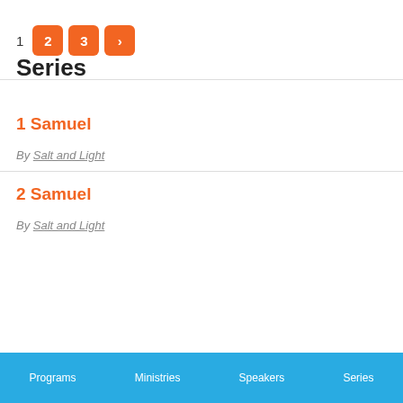1 2 3 >
Series
1 Samuel
By Salt and Light
2 Samuel
By Salt and Light
Programs  Ministries  Speakers  Series